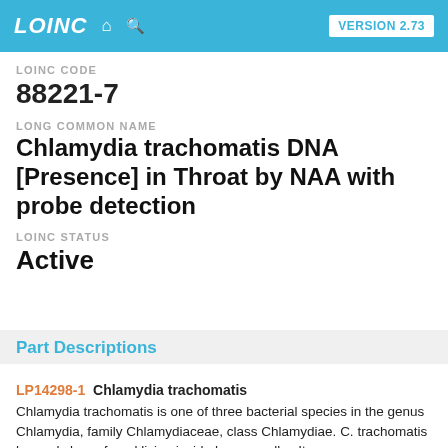LOINC  VERSION 2.73
LOINC CODE
88221-7
LONG COMMON NAME
Chlamydia trachomatis DNA [Presence] in Throat by NAA with probe detection
LOINC STATUS
Active
Part Descriptions
LP14298-1   Chlamydia trachomatis
Chlamydia trachomatis is one of three bacterial species in the genus Chlamydia, family Chlamydiaceae, class Chlamydiae. C. trachomatis has only been found living inside human cells . It